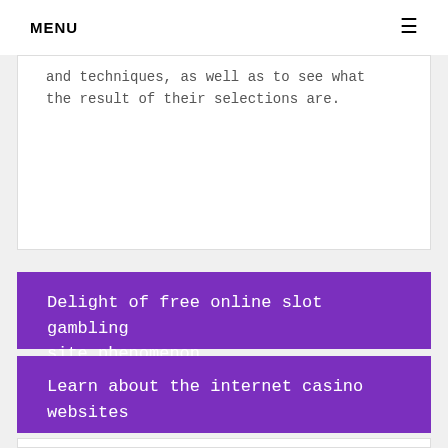MENU
and techniques, as well as to see what the result of their selections are.
Delight of free online slot gambling site phenomenon
Learn about the internet casino websites